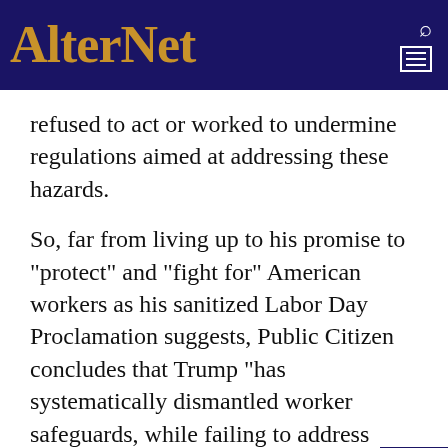AlterNet
refused to act or worked to undermine regulations aimed at addressing these hazards.
So, far from living up to his promise to "protect" and "fight for" American workers as his sanitized Labor Day Proclamation suggests, Public Citizen concludes that Trump "has systematically dismantled worker safeguards, while failing to address growing hazards, signaling to workers: drop dead."